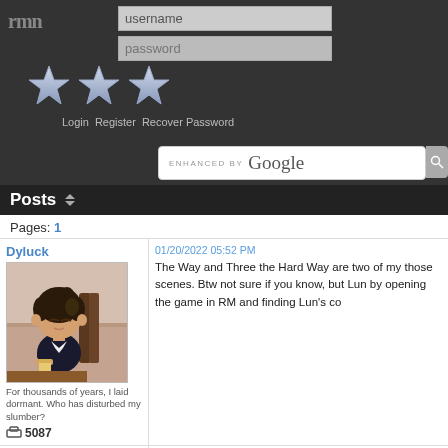rmn — username / password login, Register, Recover Password, ENHANCED BY Google search
Posts
Pages: 1
Dyluck
[Figure (illustration): Chibi 3D character with dark spiky hair sitting in a wooden chair, wearing a dark jacket, holding a drink]
For thousands of years, I laid dormant. Who has disturbed my slumber?
5087
01/20/2022 05:52 PM
The Way and Three the Hard Way are two of my those scenes. Btw not sure if you know, but Lun by opening the game in RM and finding Lun's co
TheRpgmakerAddict
01/20/2022 07:06 PM
author=Dyluck